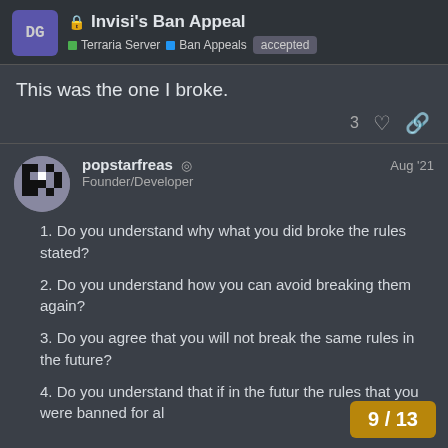Invisi's Ban Appeal | Terraria Server | Ban Appeals | accepted
This was the one I broke.
3 ♡ 🔗
popstarfreas ◎ Founder/Developer  Aug '21
1. Do you understand why what you did broke the rules stated?
2. Do you understand how you can avoid breaking them again?
3. Do you agree that you will not break the same rules in the future?
4. Do you understand that if in the futur the rules that you were banned for al
9 / 13